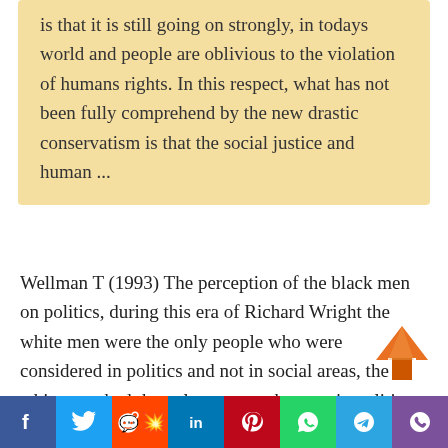is that it is still going on strongly, in todays world and people are oblivious to the violation of humans rights. In this respect, what has not been fully comprehend by the new drastic conservatism is that the social justice and human ...
Wellman T (1993) The perception of the black men on politics, during this era of Richard Wright the white men were the only people who were considered in politics and not in social areas, the white men had the only power to be seen in politics and anything that needed leadership and this
[Figure (other): Social share buttons bar at the bottom: Facebook (blue), Twitter (light blue), Reddit (orange-red), LinkedIn (dark blue), Pinterest (dark red), WhatsApp (green), Telegram (blue), Viber (purple)]